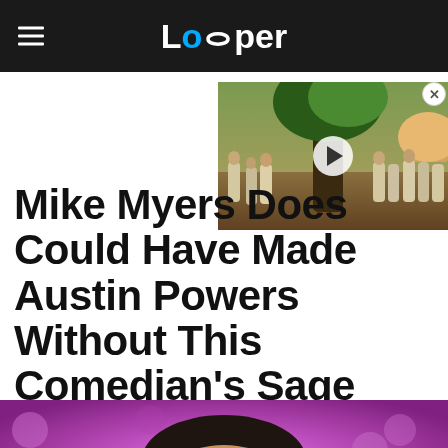Looper
[Figure (screenshot): Video thumbnail showing fantasy scene with figures in white robes near a large tree, with a play button overlay]
Mike Myers Does Could Have Made Austin Powers Without This Comedian's Sage Advice
[Figure (photo): Close-up photo of a man's face with dark hair against a pink/purple bokeh background]